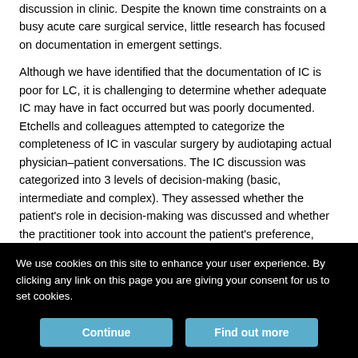discussion in clinic. Despite the known time constraints on a busy acute care surgical service, little research has focused on documentation in emergent settings.
Although we have identified that the documentation of IC is poor for LC, it is challenging to determine whether adequate IC may have in fact occurred but was poorly documented. Etchells and colleagues attempted to categorize the completeness of IC in vascular surgery by audiotaping actual physician–patient conversations. The IC discussion was categorized into 3 levels of decision-making (basic, intermediate and complex). They assessed whether the patient's role in decision-making was discussed and whether the practitioner took into account the patient's preference, explained the procedure and rationale, the risks and benefits and the alternatives, assessed the
We use cookies on this site to enhance your user experience. By clicking any link on this page you are giving your consent for us to set cookies.